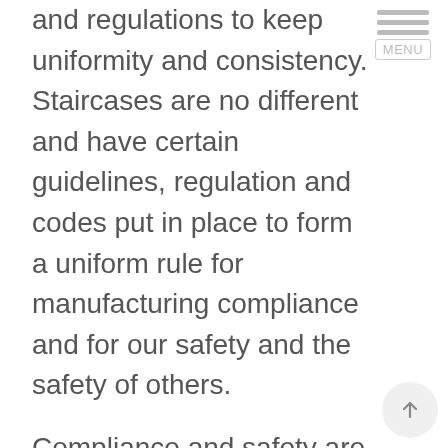and regulations to keep uniformity and consistency. Staircases are no different and have certain guidelines, regulation and codes put in place to form a uniform rule for manufacturing compliance and for our safety and the safety of others.
Compliance and safety are two very important factors that we always consider and implement with all our staircases.